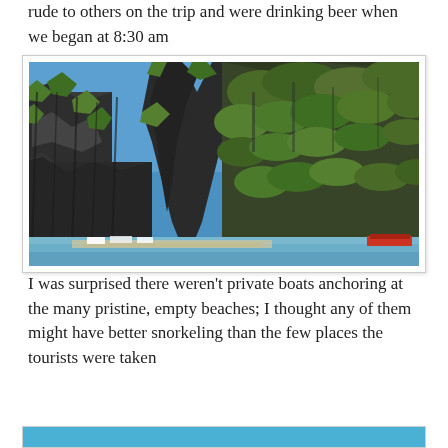rude to others on the trip and were drinking beer when we began at 8:30 am
[Figure (photo): Tall dramatic limestone karst cliffs covered with tropical green vegetation rising from the sea, with a white sandy beach and boats visible at the water's edge at the bottom. Clear blue sky in the background.]
I was surprised there weren't private boats anchoring at the many pristine, empty beaches; I thought any of them might have better snorkeling than the few places the tourists were taken